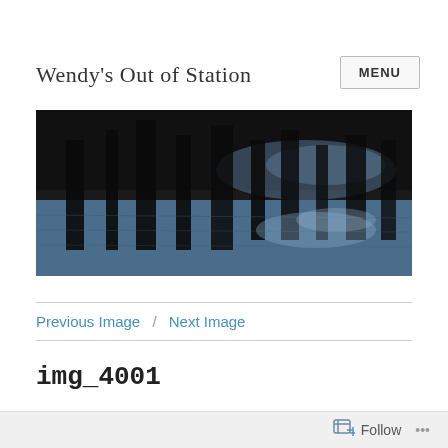Wendy's Out of Station
MENU
[Figure (photo): Dark horizontal photograph showing reflections of trees or structures in water, with a mostly dark upper portion and blue-grey water at the bottom.]
Previous Image / Next Image
img_4001
Follow ...